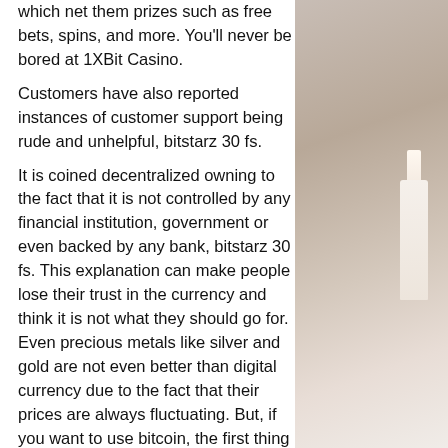which net them prizes such as free bets, spins, and more. You'll never be bored at 1XBit Casino.
Customers have also reported instances of customer support being rude and unhelpful, bitstarz 30 fs.
It is coined decentralized owning to the fact that it is not controlled by any financial institution, government or even backed by any bank, bitstarz 30 fs. This explanation can make people lose their trust in the currency and think it is not what they should go for. Even precious metals like silver and gold are not even better than digital currency due to the fact that their prices are always fluctuating. But, if you want to use bitcoin, the first thing you have to do is to download bitcoin wallet to your computer and that is where your entire bitcoin will be stored and secured safety.
Bitstarz deposit code